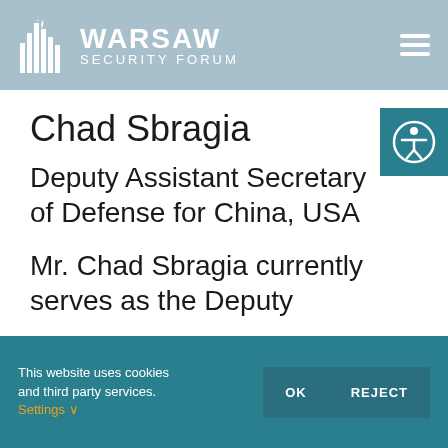Warsaw Security Forum
Chad Sbragia
Deputy Assistant Secretary of Defense for China, USA
Mr. Chad Sbragia currently serves as the Deputy
This website uses cookies and third party services. Settings OK REJECT